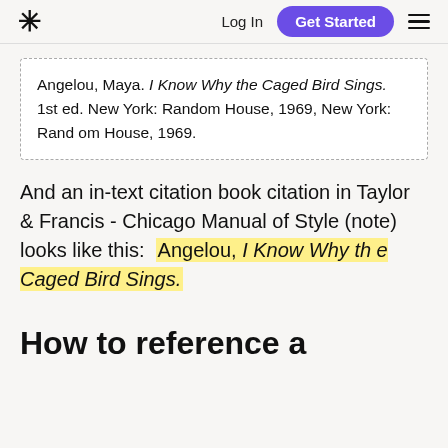* Log In  Get Started  ☰
Angelou, Maya. I Know Why the Caged Bird Sings. 1st ed. New York: Random House, 1969, New York: Random House, 1969.
And an in-text citation book citation in Taylor & Francis - Chicago Manual of Style (note) looks like this:  Angelou, I Know Why the Caged Bird Sings.
How to reference a